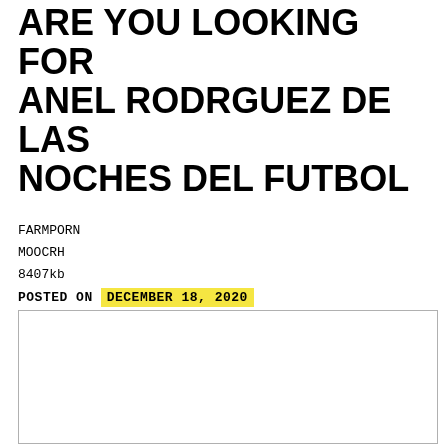ARE YOU LOOKING FOR ANEL RODRGUEZ DE LAS NOCHES DEL FUTBOL
FARMPORN
MOOCRH
8407kb
POSTED ON  DECEMBER 18, 2020
by Rachel
[Figure (other): Empty white rectangle with light gray border]